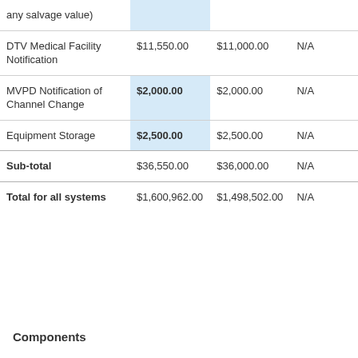|  |  |  | N/A |
| --- | --- | --- | --- |
| any salvage value) |  |  |  |
| DTV Medical Facility Notification | $11,550.00 | $11,000.00 | N/A |
| MVPD Notification of Channel Change | $2,000.00 | $2,000.00 | N/A |
| Equipment Storage | $2,500.00 | $2,500.00 | N/A |
| Sub-total | $36,550.00 | $36,000.00 | N/A |
| Total for all systems | $1,600,962.00 | $1,498,502.00 | N/A |
Components